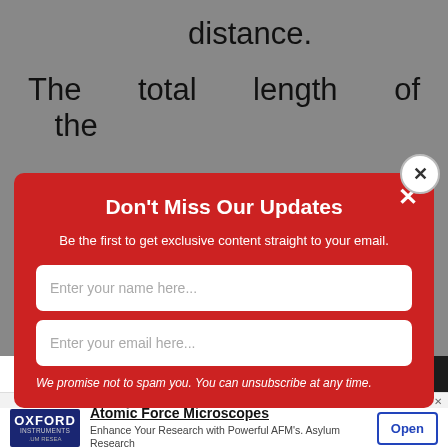distance.
The total length of the
[Figure (screenshot): Email signup modal popup with red background. Title: Don't Miss Our Updates. Subtitle: Be the first to get exclusive content straight to your email. Two input fields: 'Enter your name here...' and 'Enter your email here...'. Disclaimer: We promise not to spam you. You can unsubscribe at any time.]
[Figure (screenshot): Advertisement banner for Oxford Instruments Atomic Force Microscopes. Text: Enhance Your Research with Powerful AFM's. Asylum Research. With Open button.]